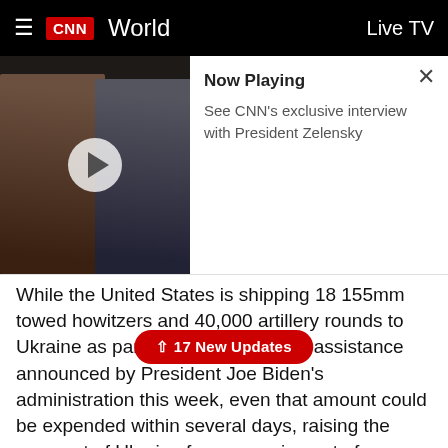CNN World | Live TV
[Figure (screenshot): CNN video thumbnail showing President Zelensky and a CNN anchor, with a play button overlay. Now Playing: See CNN's exclusive interview with President Zelensky]
While the United States is shipping 18 155mm towed howitzers and 40,000 artillery rounds to Ukraine as part of the new security assistance announced by President Joe Biden's administration this week, even that amount could be expended within several days, raising the prospect of Ukraine forces running out of ammunition, the official said.
During some of the heavy earlier fighting, Ukrainian forces fired up to thousands of artillery rounds in a given day, the official noted.
Going forward, the US believes the likely Russia